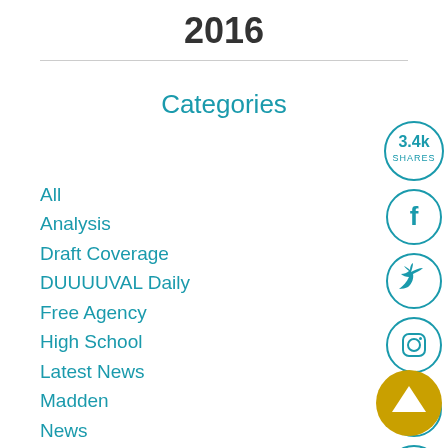2016
Categories
All
Analysis
Draft Coverage
DUUUUVAL Daily
Free Agency
High School
Latest News
Madden
News
Podcast
Poll
Video
[Figure (infographic): Social share sidebar with 3.4k shares badge, Facebook, Twitter, Instagram, Reddit, and email icons in teal circles, plus a gold scroll-up arrow button]